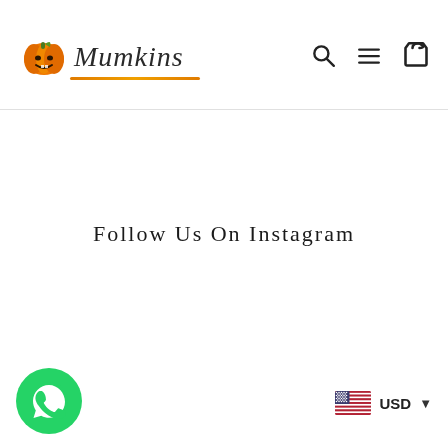[Figure (logo): Mumkins brand logo with orange pumpkin icon and cursive brand name with orange underline]
[Figure (other): Navigation icons: search (magnifying glass), hamburger menu, shopping bag]
Follow Us On Instagram
[Figure (other): WhatsApp floating button icon - green circle with white phone handset]
[Figure (other): US flag icon with USD currency selector dropdown]